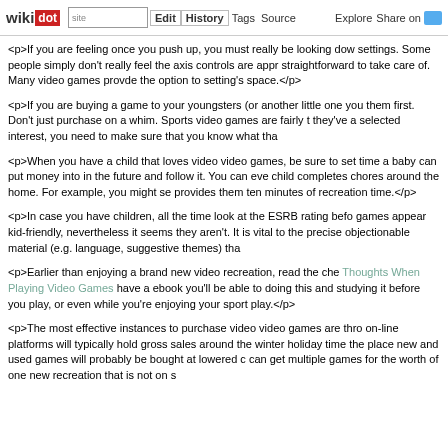wikidot | site | Edit | History | Tags | Source | Explore | Share on Twitter
<p>If you are feeling once you push up, you must really be looking down settings. Some people simply don't really feel the axis controls are appr straightforward to take care of. Many video games provde the option to setting's space.</p>
<p>If you are buying a game to your youngsters (or another little one you them first. Don't just purchase on a whim. Sports video games are fairly t they've a selected interest, you need to make sure that you know what tha</p>
<p>When you have a child that loves video video games, be sure to set time a baby can put money into in the future and follow it. You can eve child completes chores around the home. For example, you might se provides them ten minutes of recreation time.</p>
<p>In case you have children, all the time look at the ESRB rating befo games appear kid-friendly, nevertheless it seems they aren't. It is vital to the precise objectionable material (e.g. language, suggestive themes) tha</p>
<p>Earlier than enjoying a brand new video recreation, read the che Thoughts When Playing Video Games have a ebook you'll be able to doing this and studying it before you play, or even while you're enjoying your sport play.</p>
<p>The most effective instances to purchase video video games are thro on-line platforms will typically hold gross sales around the winter holiday time the place new and used games will probably be bought at lowered c can get multiple games for the worth of one new recreation that is not on s</p>